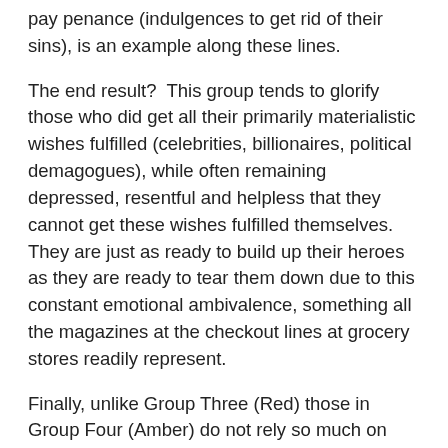pay penance (indulgences to get rid of their sins), is an example along these lines.
The end result?  This group tends to glorify those who did get all their primarily materialistic wishes fulfilled (celebrities, billionaires, political demagogues), while often remaining depressed, resentful and helpless that they cannot get these wishes fulfilled themselves.  They are just as ready to build up their heroes as they are ready to tear them down due to this constant emotional ambivalence, something all the magazines at the checkout lines at grocery stores readily represent.
Finally, unlike Group Three (Red) those in Group Four (Amber) do not rely so much on physical force to ensure security and getting their desires met, as they look to connect with the right set of rules, guidelines, group, or team to help them better...